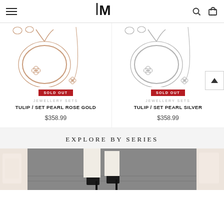M (logo), search, cart icons
[Figure (photo): Rose gold bracelet and necklace jewellery set with pearl/clover motif]
SOLD OUT
JEWELLERY SETS
TULIP / SET PEARL ROSE GOLD
$358.99
[Figure (photo): Silver bracelet and necklace jewellery set with pearl/clover motif]
SOLD OUT
JEWELLERY SETS
TULIP / SET PEARL SILVER
$358.99
EXPLORE BY SERIES
[Figure (photo): Bottom strip of lifestyle/product photos]